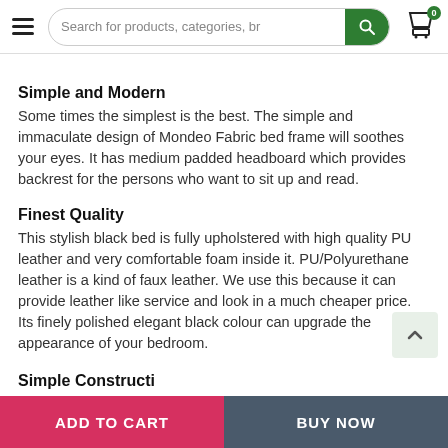Search for products, categories, br
Simple and Modern
Some times the simplest is the best. The simple and immaculate design of Mondeo Fabric bed frame will soothes your eyes. It has medium padded headboard which provides backrest for the persons who want to sit up and read.
Finest Quality
This stylish black bed is fully upholstered with high quality PU leather and very comfortable foam inside it. PU/Polyurethane leather is a kind of faux leather. We use this because it can provide leather like service and look in a much cheaper price. Its finely polished elegant black colour can upgrade the appearance of your bedroom.
ADD TO CART   BUY NOW